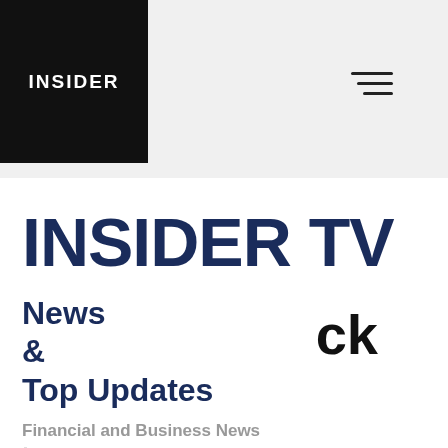[Figure (logo): INSIDER logo - white text on black square background]
INSIDER TV
News & Top Updates
ck
Financial and Business News
Transferred to South African Investors After Multiple Reports.
426 views, 4 likes